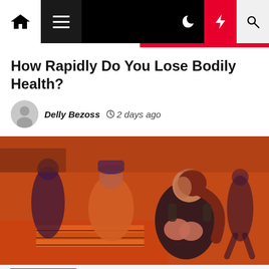Navigation bar with home, menu, moon, bolt and search icons
How Rapidly Do You Lose Bodily Health?
Delly Bezoss  2 days ago
[Figure (photo): Group fitness class in an orange-lit gym; women in workout gear in squat/rowing positions with orange equipment visible]